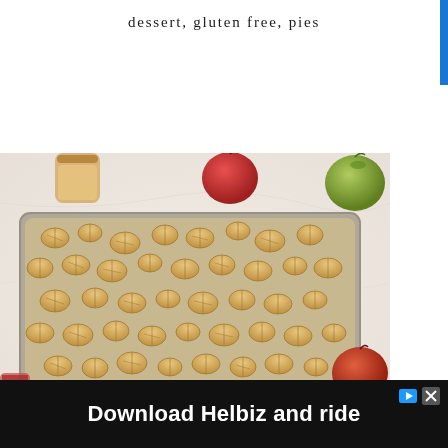dessert, gluten free, pies
[Figure (photo): Overhead view of an apple slab pie with decorative leaf-shaped pastry cutouts arranged across the top, in a rectangular baking pan, surrounded by apples on a marble surface]
[Figure (screenshot): Advertisement banner: Download Helbiz and ride, with play button icon and close button]